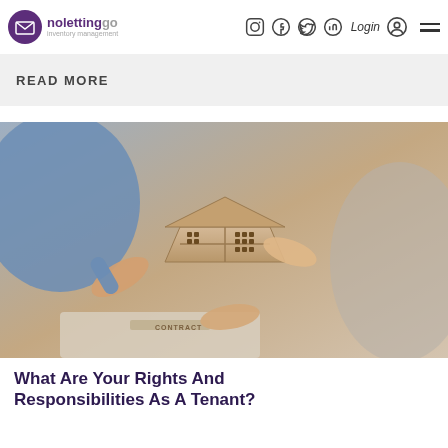nolettinggo inventory management — Login — navigation icons
READ MORE
[Figure (photo): Multiple hands holding a wooden house model shaped like a puzzle, with a contract document visible on the table below. Scene suggests a property handover or tenancy agreement.]
What Are Your Rights And Responsibilities As A Tenant?